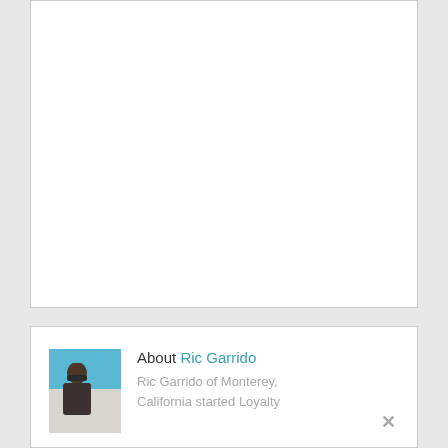[Figure (other): Empty white content box at top of page]
[Figure (photo): Author photo of Ric Garrido showing person wearing hat against blue sky background]
About Ric Garrido
Ric Garrido of Monterey, California started Loyalty